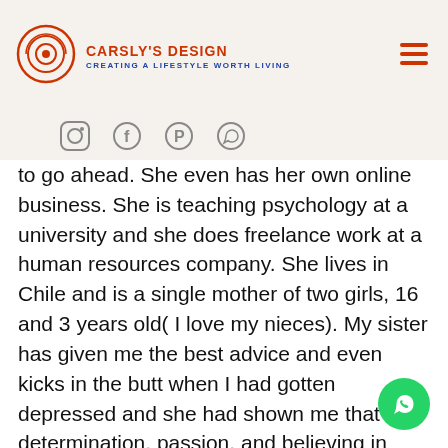Carsly's Design — Creating a Lifestyle Worth Living
sister, er than but inued to go ahead. She even has her own online business. She is teaching psychology at a university and she does freelance work at a human resources company. She lives in Chile and is a single mother of two girls, 16 and 3 years old( I love my nieces). My sister has given me the best advice and even kicks in the butt when I had gotten depressed and she had shown me that with determination, passion, and believing in ourselves, everything is possible. I truly admire her strength and hard work ethic.